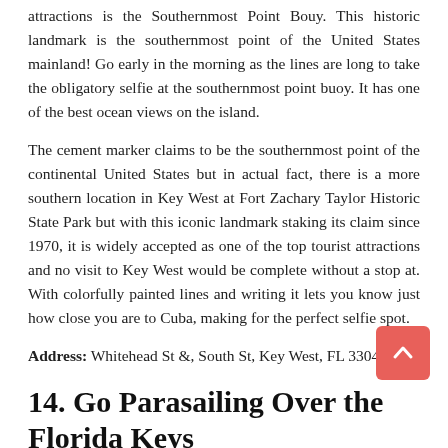attractions is the Southernmost Point Bouy. This historic landmark is the southernmost point of the United States mainland! Go early in the morning as the lines are long to take the obligatory selfie at the southernmost point buoy. It has one of the best ocean views on the island.
The cement marker claims to be the southernmost point of the continental United States but in actual fact, there is a more southern location in Key West at Fort Zachary Taylor Historic State Park but with this iconic landmark staking its claim since 1970, it is widely accepted as one of the top tourist attractions and no visit to Key West would be complete without a stop at. With colorfully painted lines and writing it lets you know just how close you are to Cuba, making for the perfect selfie spot.
Address: Whitehead St &, South St, Key West, FL 33040
14. Go Parasailing Over the Florida Keys
Things to do in Key West Parasailing